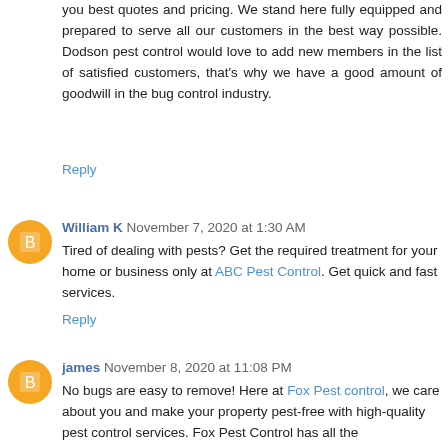you best quotes and pricing. We stand here fully equipped and prepared to serve all our customers in the best way possible. Dodson pest control would love to add new members in the list of satisfied customers, that's why we have a good amount of goodwill in the bug control industry.
Reply
William K  November 7, 2020 at 1:30 AM
Tired of dealing with pests? Get the required treatment for your home or business only at ABC Pest Control. Get quick and fast services.
Reply
james  November 8, 2020 at 11:08 PM
No bugs are easy to remove! Here at Fox Pest control, we care about you and make your property pest-free with high-quality pest control services. Fox Pest Control has all the